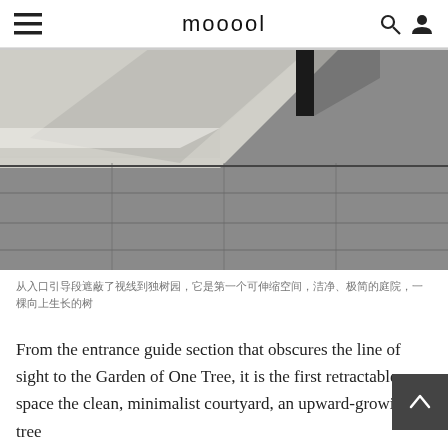mooool
[Figure (photo): Minimalist courtyard paving — black granite/stone tiles with grout lines and a dark metal post, with a lighter gravel section in the upper area. Black and white tones.]
从入口引导段遮蔽了视线到独树园，它是第一个可伸缩空间，洁净、极简的庭院，一棵向上生长的树
From the entrance guide section that obscures the line of sight to the Garden of One Tree, it is the first retractable space the clean, minimalist courtyard, an upward-growing tree